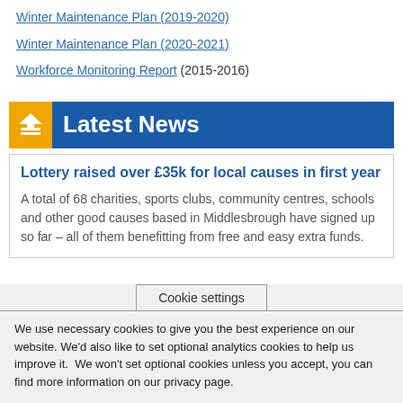Winter Maintenance Plan (2019-2020)
Winter Maintenance Plan (2020-2021)
Workforce Monitoring Report (2015-2016)
Latest News
Lottery raised over £35k for local causes in first year
A total of 68 charities, sports clubs, community centres, schools and other good causes based in Middlesbrough have signed up so far – all of them benefitting from free and easy extra funds.
Cookie settings
We use necessary cookies to give you the best experience on our website. We'd also like to set optional analytics cookies to help us improve it.  We won't set optional cookies unless you accept, you can find more information on our privacy page.